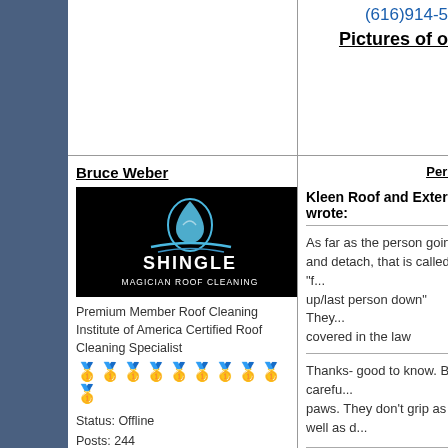(616)914-50...
Pictures of our
Bruce Weber
[Figure (logo): Shingle Magician Roof Cleaning logo on black background with water drop graphic]
Premium Member Roof Cleaning Institute of America Certified Roof Cleaning Specialist
★★★★★★★★★★
Status: Offline
Posts: 244
Date: Oct 7, 2012
Perma...
Kleen Roof and Exterior wrote:
As far as the person going and detach, that is called "f... up/last person down" They... covered in the law
Thanks- good to know. Be carefu... paws. They don't grip as well as d...
Shingle Magic
Cleani...